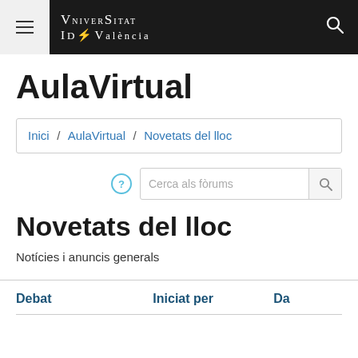Universitat de València — AulaVirtual
AulaVirtual
Inici / AulaVirtual / Novetats del lloc
[Figure (screenshot): Search bar with placeholder text 'Cerca als fòrums' and a help icon]
Novetats del lloc
Notícies i anuncis generals
| Debat | Iniciat per | Da |
| --- | --- | --- |